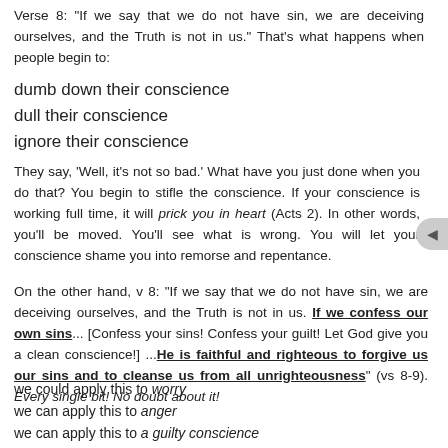Verse 8: "If we say that we do not have sin, we are deceiving ourselves, and the Truth is not in us." That's what happens when people begin to:
dumb down their conscience
dull their conscience
ignore their conscience
They say, 'Well, it's not so bad.' What have you just done when you do that? You begin to stifle the conscience. If your conscience is working full time, it will prick you in heart (Acts 2). In other words, you'll be moved. You'll see what is wrong. You will let your conscience shame you into remorse and repentance.
On the other hand, v 8: "If we say that we do not have sin, we are deceiving ourselves, and the Truth is not in us. If we confess our own sins... [Confess your sins! Confess your guilt! Let God give you a clean conscience!] ...He is faithful and righteous to forgive us our sins and to cleanse us from all unrighteousness" (vs 8-9). Every single bit! No doubt about it!
we could apply this to worry
we can apply this to anger
we can apply this to a guilty conscience
we can apply this to fear